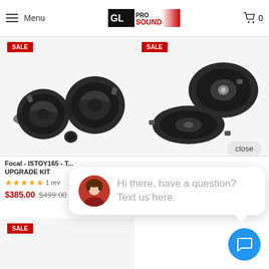Menu | GL ProSound | Cart 0
You may also like
[Figure (photo): Car speaker component set (Focal ISTOY165) showing two black speakers and a tweeter on white background, with a red SALE badge]
[Figure (photo): Car speaker set showing two black oval/round speakers on white background, with a red SALE badge]
Focal - ISTOY165 - T... UPGRADE KIT
★★★★★ 1 rev
$385.00 $499.00
[Figure (photo): Third product card with red SALE badge at bottom left, product image area mostly white]
close
Hi there, have a question? Text us here.